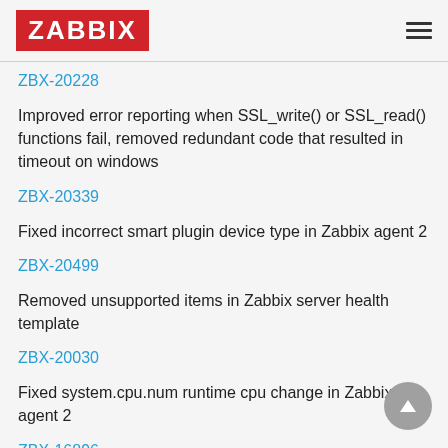ZABBIX
ZBX-20228
Improved error reporting when SSL_write() or SSL_read() functions fail, removed redundant code that resulted in timeout on windows
ZBX-20339
Fixed incorrect smart plugin device type in Zabbix agent 2
ZBX-20499
Removed unsupported items in Zabbix server health template
ZBX-20030
Fixed system.cpu.num runtime cpu change in Zabbix agent 2
ZBX-16896